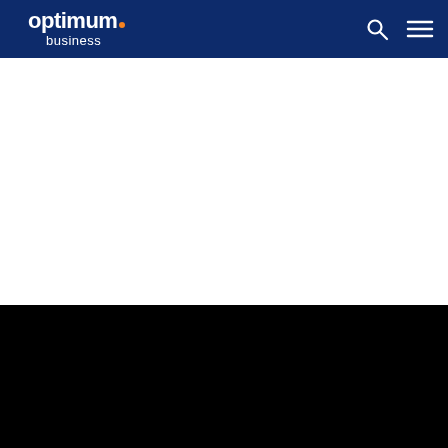optimum. business
[Figure (other): White blank content area]
[Figure (other): Black content area at the bottom]